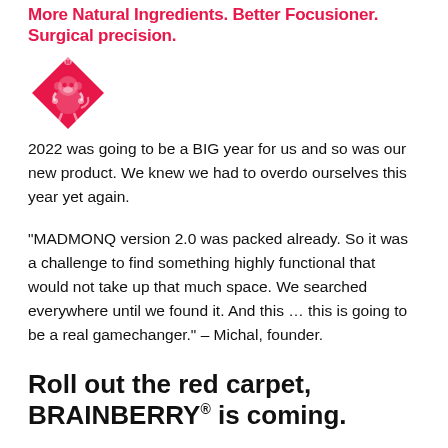More Natural Ingredients. Better Focusioner. Surgical precision.
[Figure (logo): MADMONQ logo: pink/red diamond shape with a stylized monkey/gamer figure inside]
2022 was going to be a BIG year for us and so was our new product. We knew we had to overdo ourselves this year yet again.
“MADMONQ version 2.0 was packed already. So it was a challenge to find something highly functional that would not take up that much space. We searched everywhere until we found it. And this … this is going to be a real gamechanger.” – Michal, founder.
Roll out the red carpet, BRAINBERRY® is coming.